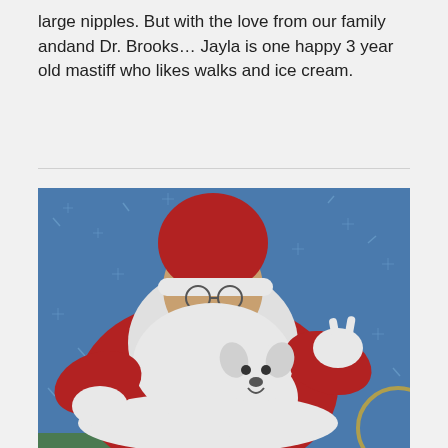large nipples. But with the love from our family andand Dr. Brooks… Jayla is one happy 3 year old mastiff who likes walks and ice cream.
[Figure (photo): A person dressed as Santa Claus holding a small white dog. Santa is giving a peace sign behind the dog's head. The background is blue with snowflake decorations.]